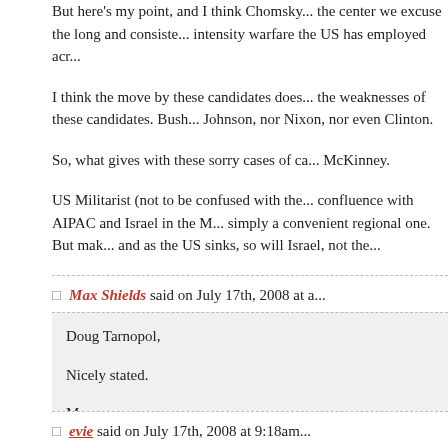But here's my point, and I think Chomsky... the center we excuse the long and consiste... intensity warfare the US has employed acr...
I think the move by these candidates does... the weaknesses of these candidates. Bush... Johnson, nor Nixon, nor even Clinton.
So, what gives with these sorry cases of ca... McKinney.
US Militarist (not to be confused with the... confluence with AIPAC and Israel in the M... simply a convenient regional one. But mak... and as the US sinks, so will Israel, not the...
Max Shields said on July 17th, 2008 at a...
Doug Tarnopol,

Nicely stated.

Max
evie said on July 17th, 2008 at 9:18am...